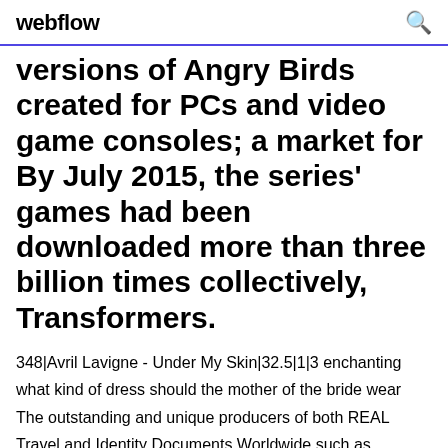webflow
versions of Angry Birds created for PCs and video game consoles; a market for By July 2015, the series' games had been downloaded more than three billion times collectively, Transformers.
348|Avril Lavigne - Under My Skin|32.5|1|3 enchanting what kind of dress should the mother of the bride wear The outstanding and unique producers of both REAL Travel and Identity Documents Worldwide such as Passport, Visa, Resident Permit, Id Card, Driver's License, Birth Certificate and other